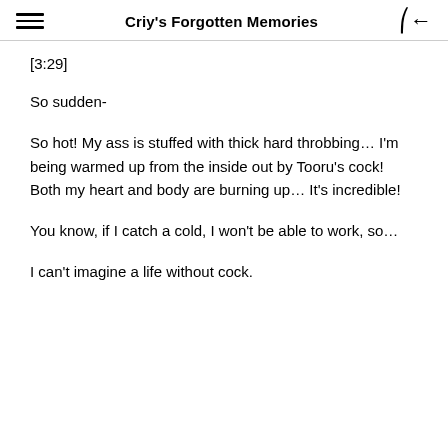Criy's Forgotten Memories
[3:29]
So sudden-
So hot! My ass is stuffed with thick hard throbbing… I'm being warmed up from the inside out by Tooru's cock! Both my heart and body are burning up… It's incredible!
You know, if I catch a cold, I won't be able to work, so…
I can't imagine a life without cock.